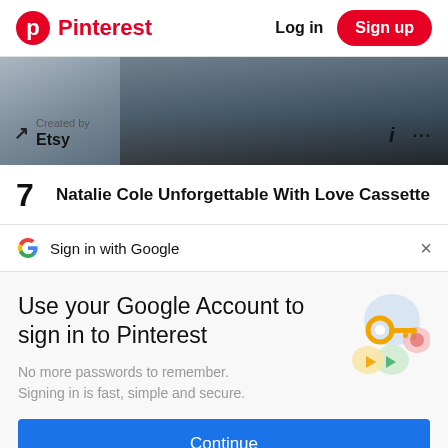Pinterest  Log in  Sign up
[Figure (photo): Partial view of a cassette tape or electronic device, dark tones, partially visible from the top]
Created by
Etsy
i  ...
7  Natalie Cole Unforgettable With Love Cassette
Sign in with Google  ×
Use your Google Account to sign in to Pinterest
No more passwords to remember.
Signing in is fast, simple and secure.
[Figure (illustration): Google account key illustration with colorful circles and a key icon]
Continue